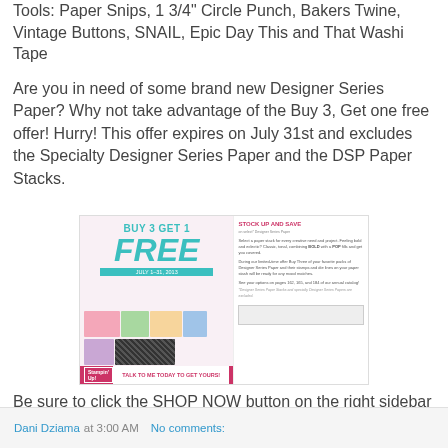Tools:  Paper Snips, 1 3/4" Circle Punch, Bakers Twine, Vintage Buttons, SNAIL, Epic Day This and That Washi Tape
Are you in need of some brand new Designer Series Paper?  Why not take advantage of the Buy 3, Get one free offer!  Hurry!  This offer expires on July 31st and excludes the Specialty Designer Series Paper and the DSP Paper Stacks.
[Figure (infographic): Buy 3 Get 1 Free promotional advertisement for Stampin' Up Designer Series Paper. Left side shows teal text 'BUY 3 GET 1 FREE' with paper samples. Right side says 'STOCK UP AND SAVE on select Designer Series Paper'. Bottom reads 'TALK TO ME TODAY TO GET YOURS!']
Be sure to click the SHOP NOW button on the right sidebar to go directly to my store!
Dani Dziama at 3:00 AM   No comments: